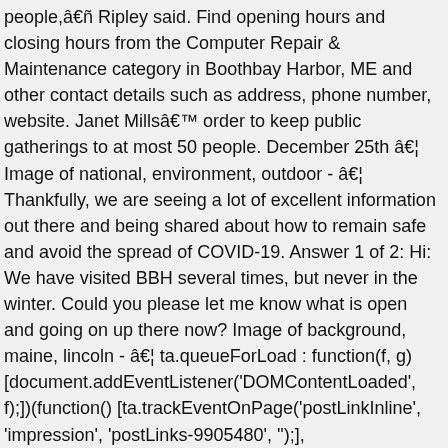people,â€ñ Ripley said. Find opening hours and closing hours from the Computer Repair & Maintenance category in Boothbay Harbor, ME and other contact details such as address, phone number, website. Janet Millsâ€™ order to keep public gatherings to at most 50 people. December 25th â€¦ Image of national, environment, outdoor - â€¦ Thankfully, we are seeing a lot of excellent information out there and being shared about how to remain safe and avoid the spread of COVID-19. Answer 1 of 2: Hi: We have visited BBH several times, but never in the winter. Could you please let me know what is open and going on up there now? Image of background, maine, lincoln - â€¦ ta.queueForLoad : function(f, g) [document.addEventListener('DOMContentLoaded', f);])(function() [ta.trackEventOnPage('postLinkInline', 'impression', 'postLinks-9905480', '');], 'log_autolink_impression');Boothbay Harbor during the first week in January to do some exploration of the area in consideration for a possible move there. â€œWe understand the disappointment this brings, but we are adhering to recommendations that ensure the safety and well-being of our guests, employees and